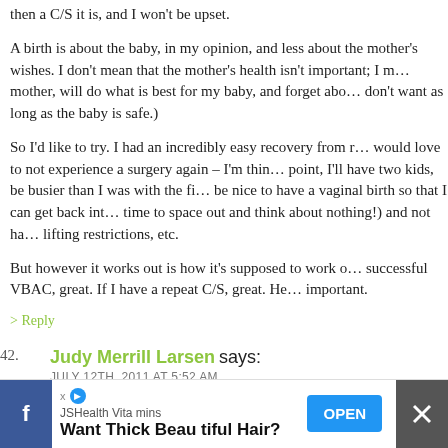then a C/S it is, and I won't be upset.
A birth is about the baby, in my opinion, and less about the mother's wishes. I don't mean that the mother's health isn't important; I mean that I, as a mother, will do what is best for my baby, and forget about what I want or don't want as long as the baby is safe.)
So I'd like to try. I had an incredibly easy recovery from my C/S, but I would love to not experience a surgery again – I'm thinking that at that point, I'll have two kids, be busier than I was with the first, and it would be nice to have a vaginal birth so that I can get back into life faster (and time to space out and think about nothing!) and not have lifting restrictions, etc.
But however it works out is how it's supposed to work out. If I have a successful VBAC, great. If I have a repeat C/S, great. Healthy baby is what's important.
> Reply
42. Judy Merrill Larsen says:
JULY 12TH, 2011 AT 5:52 AM
[Figure (screenshot): Advertisement bar at the bottom: JSHealth Vitamins 'Want Thick Beautiful Hair?' with OPEN button, Facebook icon on left, close X on right]